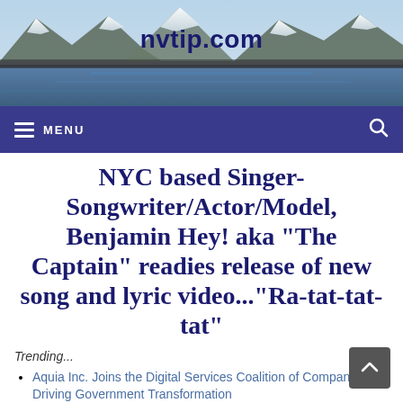[Figure (photo): Mountain landscape banner with snow-capped peaks and blue lake, header image for nvtip.com]
nvtip.com
≡ MENU
NYC based Singer-Songwriter/Actor/Model, Benjamin Hey! aka "The Captain" readies release of new song and lyric video..."Ra-tat-tat-tat"
Trending...
Aquia Inc. Joins the Digital Services Coalition of Companies Driving Government Transformation
Local Realtor Discusses the Quality of Life in the City of West Bend with Mayor Chris Jenkins
Non-profit Responds to Post Covid Needs